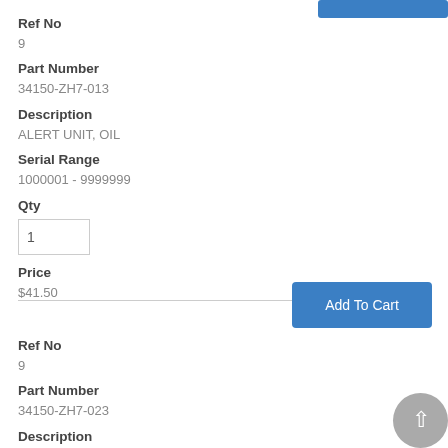Ref No
9
Part Number
34150-ZH7-013
Description
ALERT UNIT, OIL
Serial Range
1000001 - 9999999
Qty
1
Price
$41.50
Add To Cart
Ref No
9
Part Number
34150-ZH7-023
Description